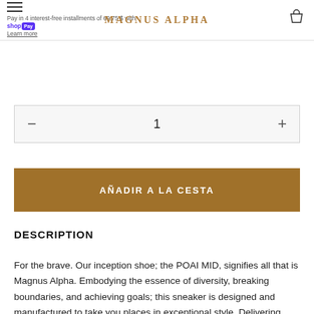Pay in 4 interest-free installments of 69.75 $ with shop Pay Learn more | MAGNUS ALPHA | Cart
1
AÑADIR A LA CESTA
DESCRIPTION
For the brave. Our inception shoe; the POAI MID, signifies all that is Magnus Alpha. Embodying the essence of diversity, breaking boundaries, and achieving goals; this sneaker is designed and manufactured to take you places in exceptional style. Delivering unmatched design along with hard wearing comfort; each pair of this lightweight shoe boasts a 100% calfskin Caviar leather upper with